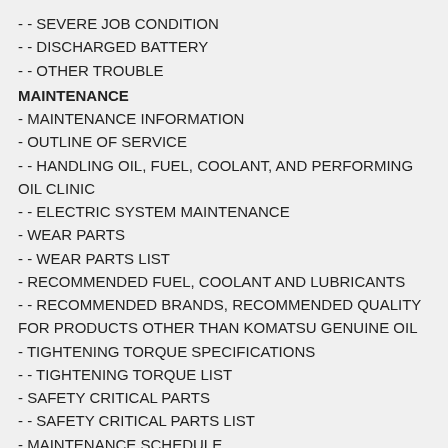- - SEVERE JOB CONDITION
- - DISCHARGED BATTERY
- - OTHER TROUBLE
MAINTENANCE
- MAINTENANCE INFORMATION
- OUTLINE OF SERVICE
- - HANDLING OIL, FUEL, COOLANT, AND PERFORMING OIL CLINIC
- - ELECTRIC SYSTEM MAINTENANCE
- WEAR PARTS
- - WEAR PARTS LIST
- RECOMMENDED FUEL, COOLANT AND LUBRICANTS
- - RECOMMENDED BRANDS, RECOMMENDED QUALITY FOR PRODUCTS OTHER THAN KOMATSU GENUINE OIL
- TIGHTENING TORQUE SPECIFICATIONS
- - TIGHTENING TORQUE LIST
- SAFETY CRITICAL PARTS
- - SAFETY CRITICAL PARTS LIST
- MAINTENANCE SCHEDULE